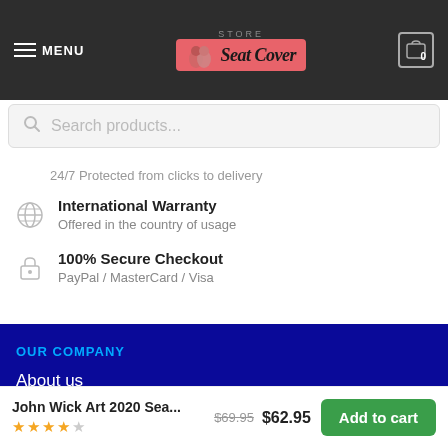MENU — Store Seat Cover — Cart 0
Search products...
24/7 Protected from clicks to delivery
International Warranty
Offered in the country of usage
100% Secure Checkout
PayPal / MasterCard / Visa
OUR COMPANY
About us
John Wick Art 2020 Sea... $69.95 $62.95 Add to cart